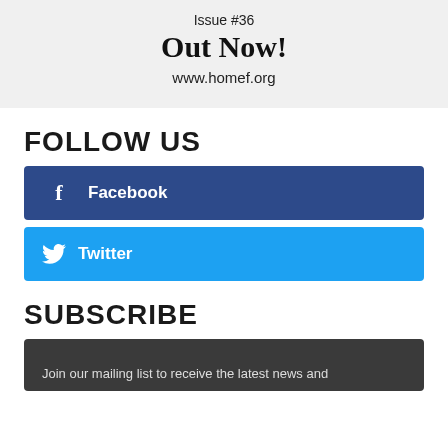[Figure (other): Light gray banner showing 'Issue #36 Out Now! www.homef.org']
FOLLOW US
Facebook
Twitter
SUBSCRIBE
Join our mailing list to receive the latest news and